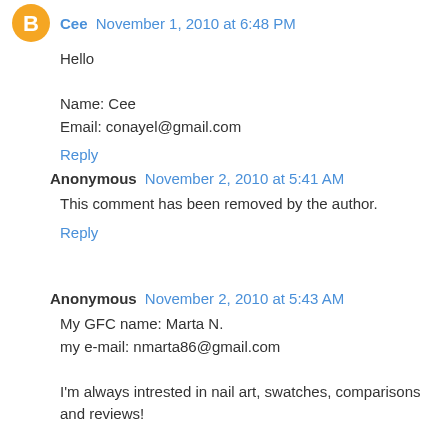Cee November 1, 2010 at 6:48 PM
Hello

Name: Cee
Email: conayel@gmail.com
Reply
Anonymous November 2, 2010 at 5:41 AM
This comment has been removed by the author.
Reply
Anonymous November 2, 2010 at 5:43 AM
My GFC name: Marta N.
my e-mail: nmarta86@gmail.com

I'm always intrested in nail art, swatches, comparisons and reviews!

Thanks for this giveway =)